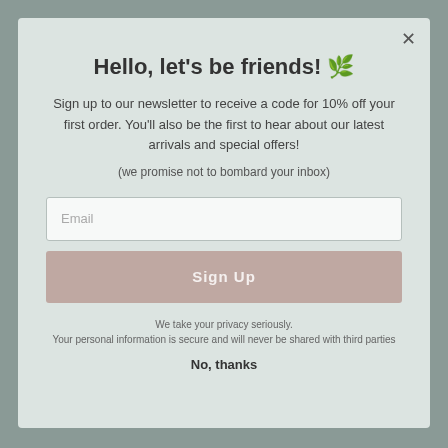HELP & INFO
Shipping Policy
Refunds and Returns Policy
Privacy Policy
Terms & Conditions
About Us
Terms of Service
Refund policy
SOCIALS
Stop by and say hello..
Hello, let's be friends! 🌿
Sign up to our newsletter to receive a code for 10% off your first order. You'll also be the first to hear about our latest arrivals and special offers!
(we promise not to bombard your inbox)
Email
Sign Up
We take your privacy seriously.
Your personal information is secure and will never be shared with third parties
No, thanks